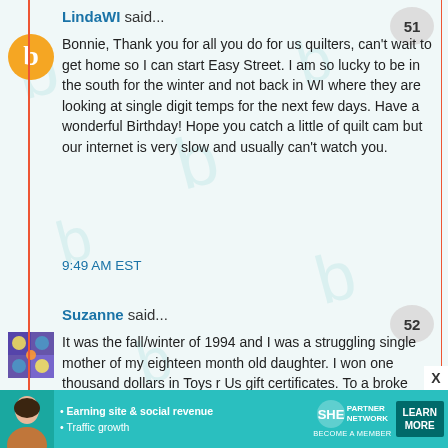LindaWI said...
[Figure (illustration): Speech bubble with number 51]
[Figure (logo): Orange Blogger 'b' icon circle avatar]
Bonnie, Thank you for all you do for us quilters, can't wait to get home so I can start Easy Street. I am so lucky to be in the south for the winter and not back in WI where they are looking at single digit temps for the next few days. Have a wonderful Birthday! Hope you catch a little of quilt cam but our internet is very slow and usually can't watch you.
9:49 AM EST
Suzanne said...
[Figure (illustration): Speech bubble with number 52]
[Figure (photo): Small colorful quilt pattern avatar thumbnail]
It was the fall/winter of 1994 and I was a struggling single mother of my eighteen month old daughter. I won one thousand dollars in Toys r Us gift certificates. To a broke mother this was heaven ..... We had a great Christmas and we had diapers, formula, food and toys covered for a long time. I was
[Figure (infographic): SHE Partner Network advertisement banner - teal background with woman photo, bullet points about Earning site & social revenue and Traffic growth, SHE PARTNER NETWORK logo, LEARN MORE button, and X close button]